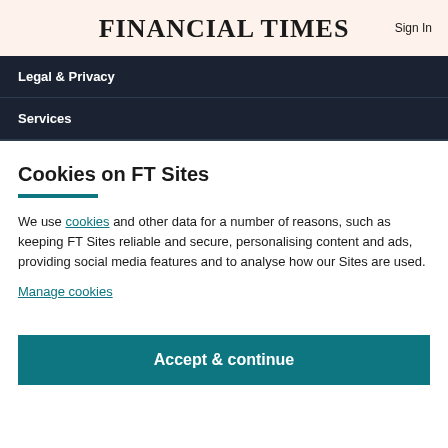FINANCIAL TIMES  Sign In
Legal & Privacy
Services
Cookies on FT Sites
We use cookies and other data for a number of reasons, such as keeping FT Sites reliable and secure, personalising content and ads, providing social media features and to analyse how our Sites are used.
Manage cookies
Accept & continue